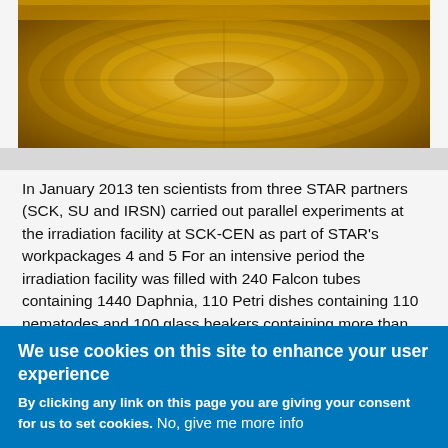[Figure (photo): Overhead view of an irradiation facility with golden/yellow-toned circular equipment structures]
In January 2013 ten scientists from three STAR partners (SCK, SU and IRSN) carried out parallel experiments at the irradiation facility at SCK-CEN as part of STAR's workpackages 4 and 5 For an intensive period the irradiation facility was filled with 240 Falcon tubes containing 1440 Daphnia, 110 Petri dishes containing 110 nematodes and 100 glass beakers containing more than 1000 Lemna plants!
We are still working with all the samples and data from the experiments, so it's too early to say what the results
We use cookies on this site to enhance your user experience
By clicking any link on this page you are giving your consent for us to set cookies. No, give me more info